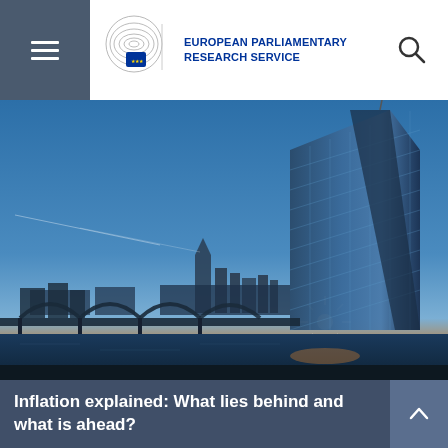European Parliamentary Research Service
[Figure (photo): ECB (European Central Bank) building in Frankfurt at dusk/sunset, with the skyline of Frankfurt visible in the background, a bridge over the river Main in the foreground, and a sunburst effect at the base of the glass tower building. Sky is blue-orange gradient.]
Inflation explained: What lies behind and what is ahead?